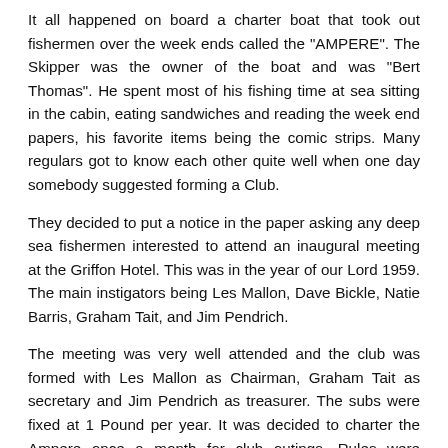It all happened on board a charter boat that took out fishermen over the week ends called the "AMPERE". The Skipper was the owner of the boat and was "Bert Thomas". He spent most of his fishing time at sea sitting in the cabin, eating sandwiches and reading the week end papers, his favorite items being the comic strips. Many regulars got to know each other quite well when one day somebody suggested forming a Club.
They decided to put a notice in the paper asking any deep sea fishermen interested to attend an inaugural meeting at the Griffon Hotel. This was in the year of our Lord 1959. The main instigators being Les Mallon, Dave Bickle, Natie Barris, Graham Tait, and Jim Pendrich.
The meeting was very well attended and the club was formed with Les Mallon as Chairman, Graham Tait as secretary and Jim Pendrich as treasurer. The subs were fixed at 1 Pound per year. It was decided to charter the Ampere once a month for club outings. Rules were formulated, one being that fishing only with rod and reel would be allowed. This upset quite a few members. Later it was suggested that a handline section be formed. This was squashed.